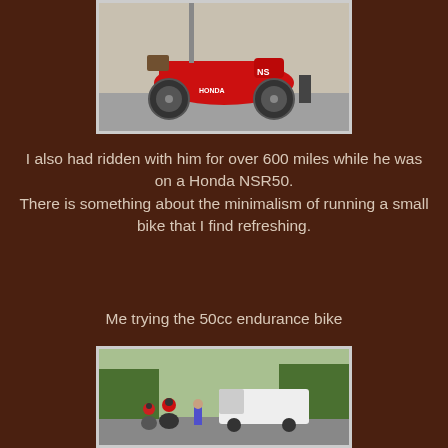[Figure (photo): Red Honda NSR50 motorcycle parked outside, viewed from the left side. Luggage strapped on the back. White Honda logo visible.]
I also had ridden with him for over 600 miles while he was on a Honda NSR50.
There is something about the minimalism of running a small bike that I find refreshing.
Me trying the 50cc endurance bike
[Figure (photo): Motorcyclists on a street with a white van in the background and trees lining the road.]